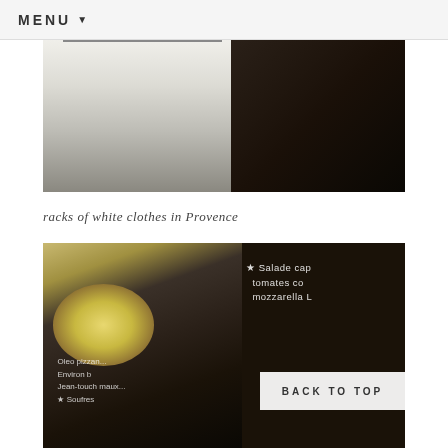MENU
[Figure (photo): Racks of white clothes hanging in Provence shop, with dark stone floor visible]
racks of white clothes in Provence
[Figure (photo): Interior of a French bistro/restaurant, person visible in foreground, chalk menu board in background with handwritten text including 'Salade', 'tomates', 'mozzarella', 'Oleo pizzan']
BACK TO TOP